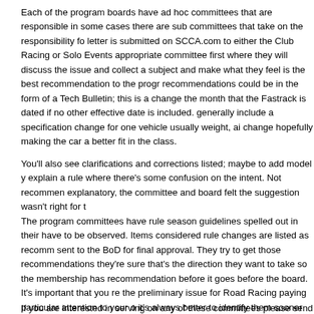Each of the program boards have ad hoc committees that are responsible in some cases there are sub committees that take on the responsibility fo letter is submitted on SCCA.com to either the Club Racing or Solo Events appropriate committee first where they will discuss the issue and collect a subject and make what they feel is the best recommendation to the progr recommendations could be in the form of a Tech Bulletin; this is a change the month that the Fastrack is dated if no other effective date is included. generally include a specification change for one vehicle usually weight, ai change hopefully making the car a better fit in the class.
You'll also see clarifications and corrections listed; maybe to add model y explain a rule where there's some confusion on the intent. Not recommen explanatory, the committee and board felt the suggestion wasn't right for t
The program committees have rule season guidelines spelled out in their have to be observed. Items considered rule changes are listed as recomm sent to the BoD for final approval. They try to get those recommendations they're sure that's the direction they want to take so the membership has recommendation before it goes before the board. It's important that you re the preliminary issue for Road Racing paying particular attention to your o it's always better to identify them sooner rather than later.
If you are interested in serving on any of these committees please send o